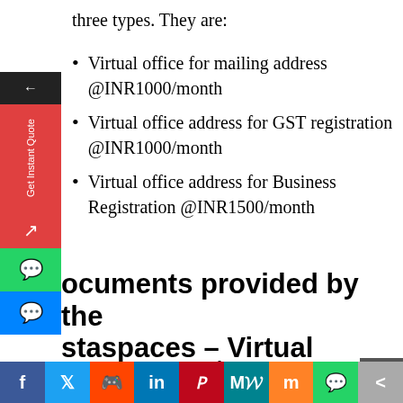three types. They are:
Virtual office for mailing address @INR1000/month
Virtual office address for GST registration @INR1000/month
Virtual office address for Business Registration @INR1500/month
Documents provided by the Instaspaces – Virtual Office Provider:
Instaspaces provided me the following